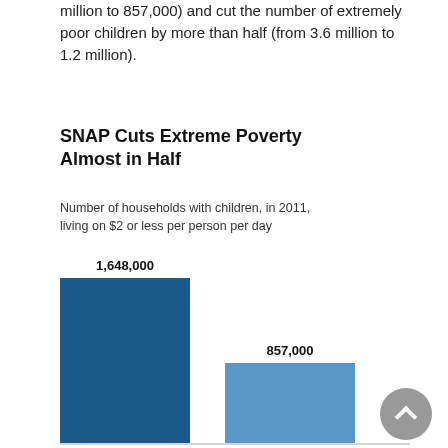million to 857,000) and cut the number of extremely poor children by more than half (from 3.6 million to 1.2 million).
SNAP Cuts Extreme Poverty Almost in Half
Number of households with children, in 2011, living on $2 or less per person per day
[Figure (bar-chart): SNAP Cuts Extreme Poverty Almost in Half]